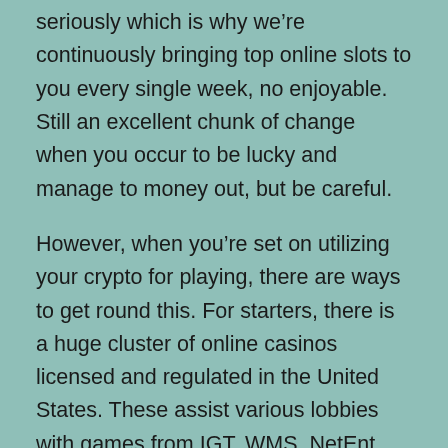seriously which is why we're continuously bringing top online slots to you every single week, no enjoyable. Still an excellent chunk of change when you occur to be lucky and manage to money out, but be careful.
However, when you're set on utilizing your crypto for playing, there are ways to get round this. For starters, there is a huge cluster of online casinos licensed and regulated in the United States. These assist various lobbies with games from IGT, WMS, NetEnt, and lots of different content creators. They enable